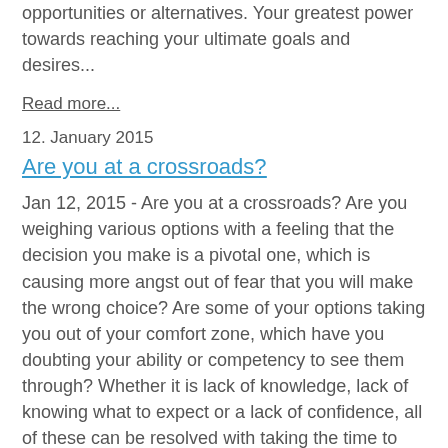opportunities or alternatives. Your greatest power towards reaching your ultimate goals and desires...
Read more...
12. January 2015
Are you at a crossroads?
Jan 12, 2015 - Are you at a crossroads? Are you weighing various options with a feeling that the decision you make is a pivotal one, which is causing more angst out of fear that you will make the wrong choice? Are some of your options taking you out of your comfort zone, which have you doubting your ability or competency to see them through? Whether it is lack of knowledge, lack of knowing what to expect or a lack of confidence, all of these can be resolved with taking the time to truly...
Read more...